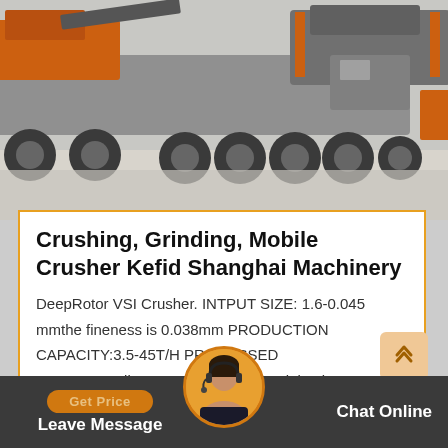[Figure (photo): Mobile crusher truck/machinery on a paved surface, showing large industrial vehicle with multiple axles and orange crushing equipment mounted on trailer.]
Crushing, Grinding, Mobile Crusher Kefid Shanghai Machinery
DeepRotor VSI Crusher. INTPUT SIZE: 1.6-0.045 mmthe fineness is 0.038mm PRODUCTION CAPACITY:3.5-45T/H PROCESSED MATERIALS:limestone calcite barite dolomite potassium feldspar bentonite medical stone rock phosphate…
Get Price
Leave Message
Chat Online